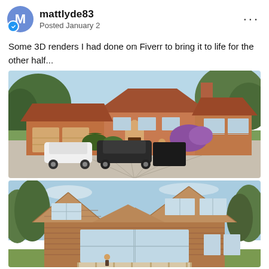mattlyde83 — Posted January 2
Some 3D renders I had done on Fiverr to bring it to life for the other half...
[Figure (photo): 3D render of a large brick detached house with a tiled roof, purple flowering shrubs, two cars parked on a paved driveway, surrounded by trees and green landscaping.]
[Figure (photo): 3D render of a wooden-clad house with multiple roof gables, a balcony, large windows, and trees in the background under a blue sky.]